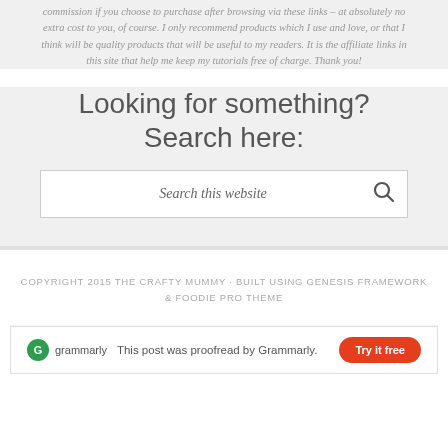commission if you choose to purchase after browsing via these links – at absolutely no extra cost to you, of course. I only recommend products which I use and love, or that I think will be quality products that will be useful to my readers. It is the affiliate links in this site that help me keep my tutorials free of charge. Thank you!
Looking for something? Search here:
Search this website
COPYRIGHT 2015 THE CRAFTY MUMMY · BUILT USING GENESIS FRAMEWORK & FOODIE PRO THEME
This post was proofread by Grammarly.